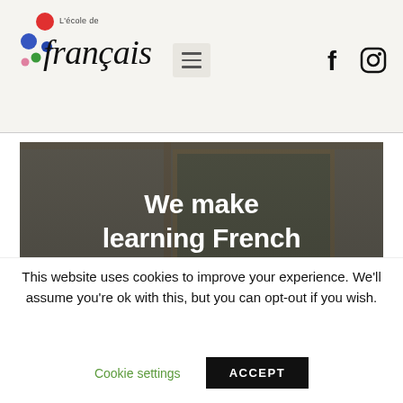[Figure (logo): L'école de français logo with colorful dots and cursive text]
[Figure (screenshot): Hamburger menu icon button]
[Figure (logo): Facebook and Instagram social media icons in header]
[Figure (photo): Hero image of a chalkboard through a window with text overlay: We make learning French fun! and subtitle about grammar rules]
This website uses cookies to improve your experience. We'll assume you're ok with this, but you can opt-out if you wish.
Cookie settings
ACCEPT